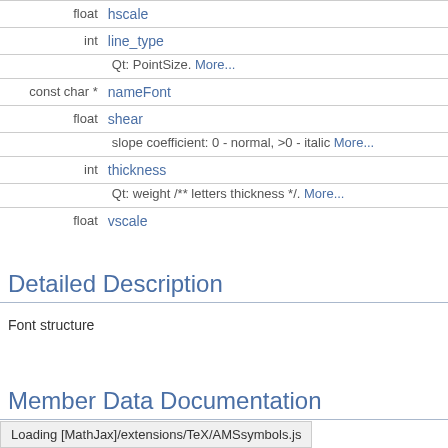| Type | Name |
| --- | --- |
| float | hscale |
| int | line_type | Qt: PointSize. More... |
| const char * | nameFont |
| float | shear | slope coefficient: 0 - normal, >0 - italic More... |
| int | thickness | Qt: weight /** letters thickness */. More... |
| float | vscale |
Detailed Description
Font structure
Member Data Documentation
Loading [MathJax]/extensions/TeX/AMSsymbols.js